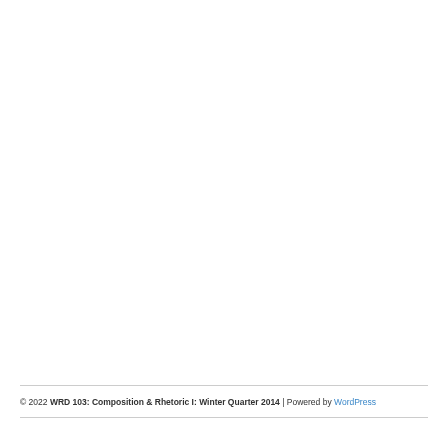© 2022 WRD 103: Composition & Rhetoric I: Winter Quarter 2014 | Powered by WordPress